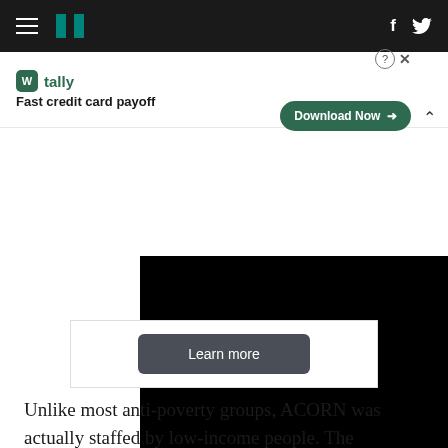HuffPost navigation with hamburger menu, logo, Facebook and Twitter icons
[Figure (screenshot): Tally advertisement banner: Fast credit card payoff, with Download Now button]
[Figure (screenshot): Black video player with white play button triangle in center, and Learn more button below]
Unlike most anti-poverty groups, ACORN was actually staffed by low-income people. The organization was never popular among conservative political groups, Republican